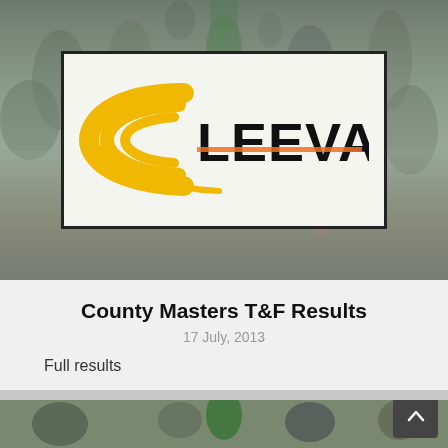[Figure (photo): Blurred background photo of a crowd of runners at a race event, with a Leevale Athletics Club logo displayed prominently in a white bordered box in the center of the image.]
County Masters T&F Results
17 July, 2013
Full results
[Figure (photo): Partial view of another card below, showing a blurred crowd photo similar to the one above, partially cut off at the bottom of the page.]